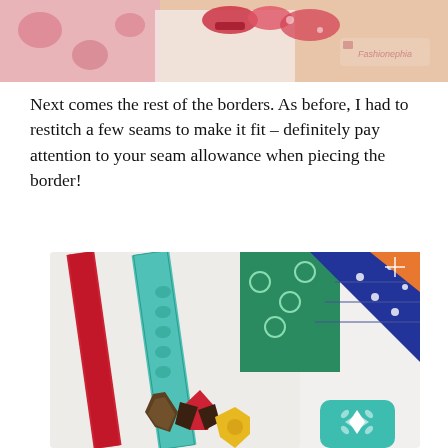[Figure (photo): Close-up photo of colorful fabric bow/flower hair accessories in pink and red floral prints, with a small watermark logo in the bottom right corner.]
Next comes the rest of the borders. As before, I had to restitch a few seams to make it fit – definitely pay attention to your seam allowance when piecing the border!
[Figure (photo): Close-up photo of quilting/sewing materials including a red ribbon/trim, a teal/turquoise lace trim, colorful patchwork fabrics in green floral, blue dotted, and other patterns, with folded fabric stars/flowers in red, brown striped, and yellow at the bottom. A teal rounded square icon with a four-pointed star is visible in the bottom right corner.]